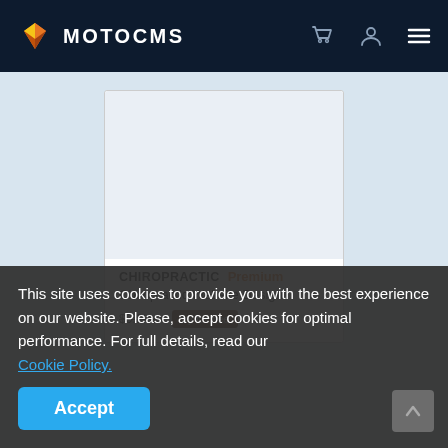MOTOCMS
[Figure (screenshot): Blank white product card image placeholder for Chiropractic Website Design]
CHIROPRACTIC   Premium
Chiropractic Website Design
$9.9/mo   Try for free
This site uses cookies to provide you with the best experience on our website. Please, accept cookies for optimal performance. For full details, read our Cookie Policy.
Accept